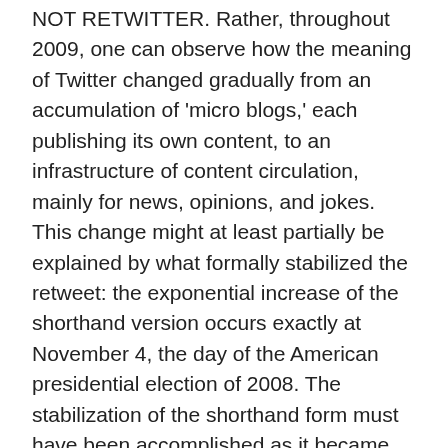NOT RETWITTER. Rather, throughout 2009, one can observe how the meaning of Twitter changed gradually from an accumulation of 'micro blogs,' each publishing its own content, to an infrastructure of content circulation, mainly for news, opinions, and jokes. This change might at least partially be explained by what formally stabilized the retweet: the exponential increase of the shorthand version occurs exactly at November 4, the day of the American presidential election of 2008. The stabilization of the shorthand form must have been accomplished as it became usual during the electoral campaign, and especially on the day of the election. This seems plausible as first, in electoral campaigns, keeping enough space for